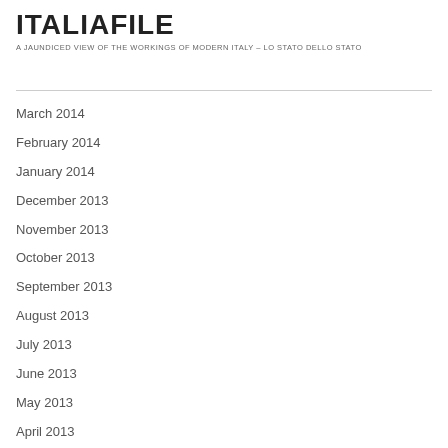ITALIAFILE
A JAUNDICED VIEW OF THE WORKINGS OF MODERN ITALY – LO STATO DELLO STATO
March 2014
February 2014
January 2014
December 2013
November 2013
October 2013
September 2013
August 2013
July 2013
June 2013
May 2013
April 2013
March 2013